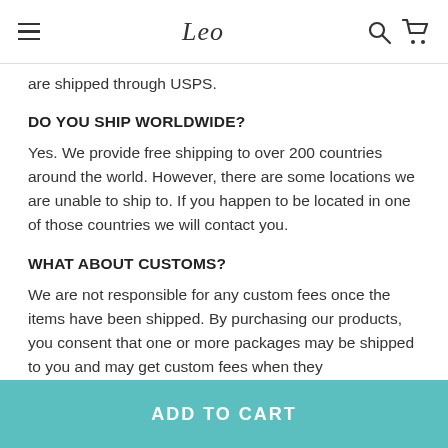Leo [navigation header with hamburger menu, logo, search, and cart icons]
are shipped through USPS.
DO YOU SHIP WORLDWIDE?
Yes. We provide free shipping to over 200 countries around the world. However, there are some locations we are unable to ship to. If you happen to be located in one of those countries we will contact you.
WHAT ABOUT CUSTOMS?
We are not responsible for any custom fees once the items have been shipped. By purchasing our products, you consent that one or more packages may be shipped to you and may get custom fees when they
ADD TO CART